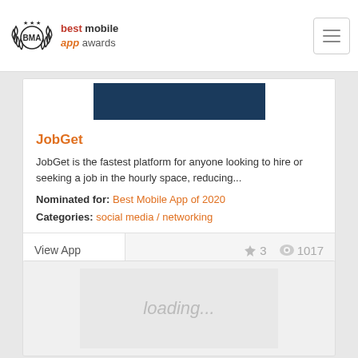best mobile app awards
[Figure (screenshot): Dark blue banner image for JobGet app]
JobGet
JobGet is the fastest platform for anyone looking to hire or seeking a job in the hourly space, reducing...
Nominated for: Best Mobile App of 2020
Categories: social media / networking
View App
★ 3   👁 1017
[Figure (screenshot): Loading placeholder image with 'loading...' text]